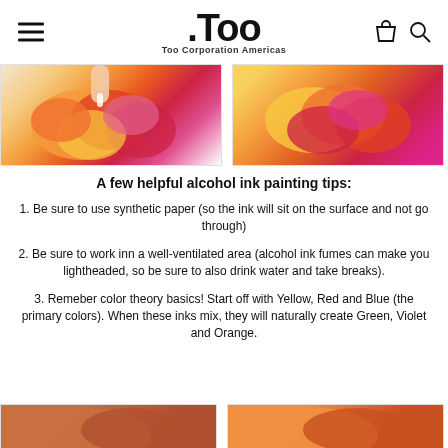.Too — Too Corporation Americas
[Figure (photo): Two side-by-side photos of colorful alcohol ink circles in orange, red, yellow, and pink on a white surface, with a hand/dropper visible in the left photo.]
A few helpful alcohol ink painting tips:
1. Be sure to use synthetic paper (so the ink will sit on the surface and not go through)
2. Be sure to work inn a well-ventilated area (alcohol ink fumes can make you lightheaded, so be sure to also drink water and take breaks).
3. Remeber color theory basics! Start off with Yellow, Red and Blue (the primary colors). When these inks mix, they will naturally create Green, Violet and Orange.
[Figure (photo): Two partial bottom images showing more alcohol ink artwork.]